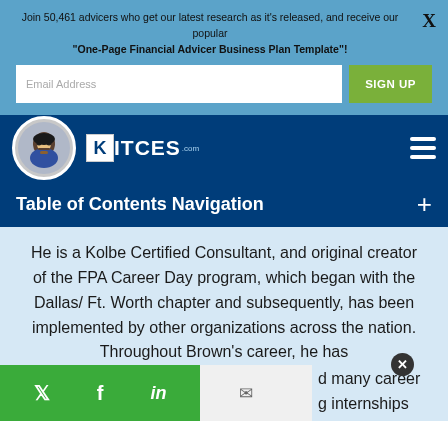Join 50,461 advicers who get our latest research as it's released, and receive our popular
“One-Page Financial Advicer Business Plan Template”!
[Figure (screenshot): Email address input field and SIGN UP button]
[Figure (logo): Kitces.com logo with avatar and hamburger menu on dark blue navbar]
Table of Contents Navigation
He is a Kolbe Certified Consultant, and original creator of the FPA Career Day program, which began with the Dallas/ Ft. Worth chapter and subsequently, has been implemented by other organizations across the nation. Throughout Brown’s career, he has
d many career g internships ning as well as